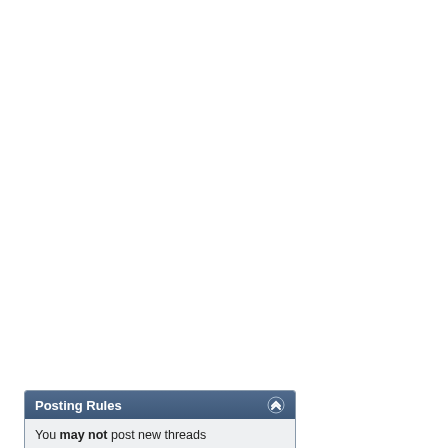[Figure (other): Post Reply button with pencil/paper icon, blue gradient background]
Posting Rules
You may not post new threads
You may not post replies
You may not post attachments